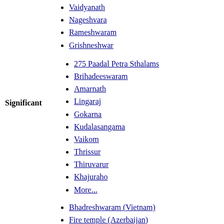Vaidyanath
Nageshvara
Rameshwaram
Grishneshwar
275 Paadal Petra Sthalams
Brihadeeswaram
Amarnath
Lingaraj
Gokarna
Kudalasangama
Vaikom
Thrissur
Thiruvarur
Khajuraho
More...
Significant
Bhadreshwaram (Vietnam)
Fire temple (Azerbaijan)
Ganga Talao (Mauritius)
Iraivan temple (USA)
Katasraj (Pakistan)
Kadhalishwaram ruins (China)
Kethishwaram (Sri Lanka)
Koneshwaram (Sri Lanka)